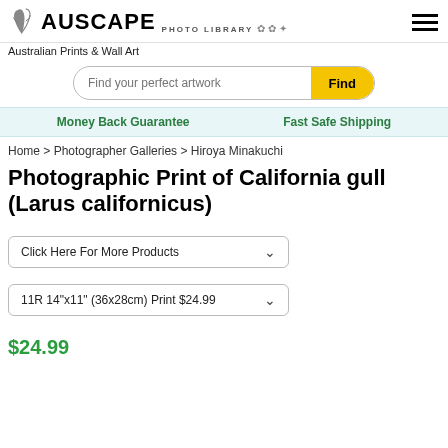[Figure (logo): Auscape Photo Library logo with plant/leaf icon]
Australian Prints & Wall Art
Find your perfect artwork
Money Back Guarantee    Fast Safe Shipping
Home > Photographer Galleries > Hiroya Minakuchi
Photographic Print of California gull (Larus californicus)
Click Here For More Products
11R 14"x11" (36x28cm) Print $24.99
$24.99